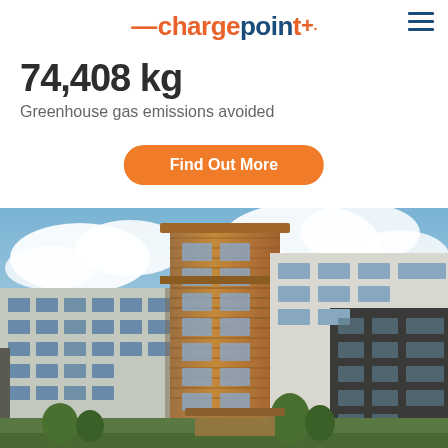—chargepoint
74,408 kg
Greenhouse gas emissions avoided
Find Out More
[Figure (photo): Exterior photo of a modern multi-story apartment or mixed-use building complex with wood paneling accents, large windows, and cloudy blue sky background]